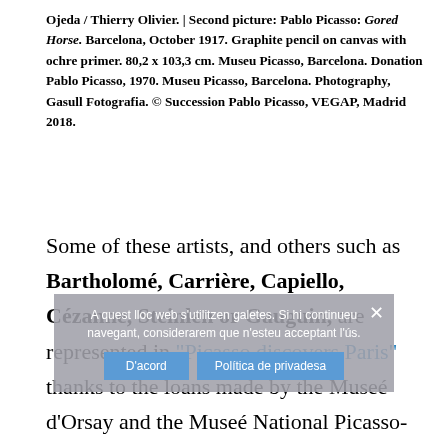Ojeda / Thierry Olivier. | Second picture: Pablo Picasso: Gored Horse. Barcelona, October 1917. Graphite pencil on canvas with ochre primer. 80,2 x 103,3 cm. Museu Picasso, Barcelona. Donation Pablo Picasso, 1970. Museu Picasso, Barcelona. Photography, Gasull Fotografia. © Succession Pablo Picasso, VEGAP, Madrid 2018.
Some of these artists, and others such as Bartholomé, Carrière, Capiello, Cézanne, Steinlen or Gauguin, are represented in "Picasso discovers Paris" thanks to the loans made by the Museé d'Orsay and the Museé National Picasso-París. In fact, the idea was born based around the exchange of works that we carried out with these two institutions for the exhibition "Picasso bleu et rose", which is to be inaugurated on 18th September at the Musée d'Orsay of Paris.